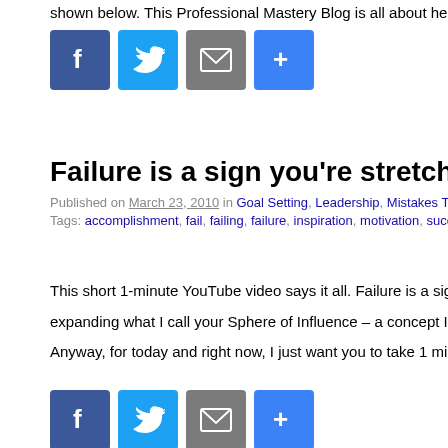shown below. This Professional Mastery Blog is all about helping you mi
[Figure (infographic): Social sharing buttons: Facebook, Twitter, Email, Share (top)]
Failure is a sign you're stretching beyond your comfor
Published on March 23, 2010 in Goal Setting, Leadership, Mistakes To Avoid and
Tags: accomplishment, fail, failing, failure, inspiration, motivation, success.
This short 1-minute YouTube video says it all. Failure is a sign you're st expanding what I call your Sphere of Influence – a concept I explain Anyway, for today and right now, I just want you to take 1 minute out of y
[Figure (infographic): Social sharing buttons: Facebook, Twitter, Email, Share (bottom)]